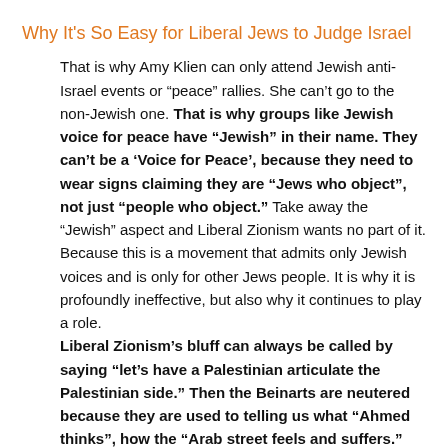Why It's So Easy for Liberal Jews to Judge Israel
That is why Amy Klien can only attend Jewish anti-Israel events or “peace” rallies. She can’t go to the non-Jewish one. That is why groups like Jewish voice for peace have “Jewish” in their name. They can’t be a ‘Voice for Peace’, because they need to wear signs claiming they are “Jews who object”, not just “people who object.” Take away the “Jewish” aspect and Liberal Zionism wants no part of it. Because this is a movement that admits only Jewish voices and is only for other Jews people. It is why it is profoundly ineffective, but also why it continues to play a role.
Liberal Zionism’s bluff can always be called by saying “let’s have a Palestinian articulate the Palestinian side.” Then the Beinarts are neutered because they are used to telling us what “Ahmed thinks”, how the “Arab street feels and suffers.” Don’t let Dov Waxman tell